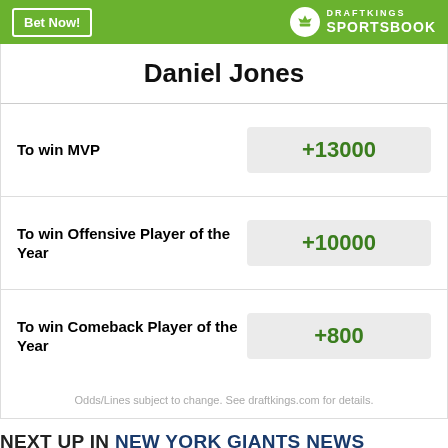[Figure (logo): DraftKings Sportsbook header bar with green background, 'Bet Now!' button and DraftKings Sportsbook logo]
Daniel Jones
| Bet | Odds |
| --- | --- |
| To win MVP | +13000 |
| To win Offensive Player of the Year | +10000 |
| To win Comeback Player of the Year | +800 |
Odds/Lines subject to change. See draftkings.com for details.
NEXT UP IN NEW YORK GIANTS NEWS
Big Blue View: for New York Giants fans
'Valentine's Views' podcast: Giants initial …
Let's see how close I get to the 53 the Giants actually keep